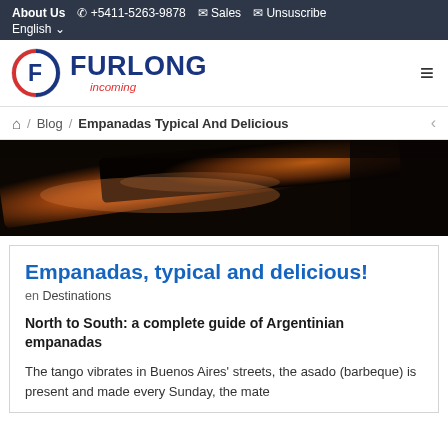About Us  +5411-5263-9878  Sales  Unsuscribe  English
[Figure (logo): Furlong Incoming logo with stylized F in circle]
Home / Blog / Empanadas Typical And Delicious
[Figure (photo): Close-up photo of empanadas against a dark background]
Empanadas, typical and delicious!
en Destinations
North to South: a complete guide of Argentinian empanadas
The tango vibrates in Buenos Aires' streets, the asado (barbeque) is present and made every Sunday, the mate